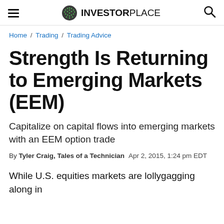InvestorPlace
Home / Trading / Trading Advice
Strength Is Returning to Emerging Markets (EEM)
Capitalize on capital flows into emerging markets with an EEM option trade
By Tyler Craig, Tales of a Technician  Apr 2, 2015, 1:24 pm EDT
While U.S. equities markets are lollygagging along in